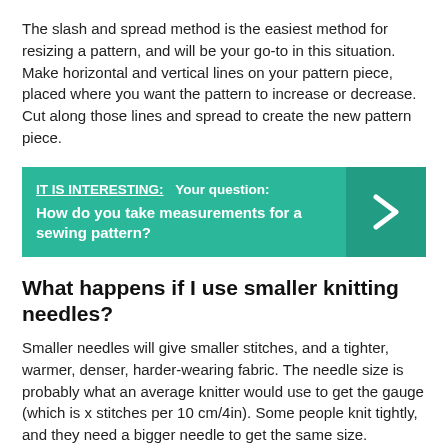The slash and spread method is the easiest method for resizing a pattern, and will be your go-to in this situation. Make horizontal and vertical lines on your pattern piece, placed where you want the pattern to increase or decrease. Cut along those lines and spread to create the new pattern piece.
[Figure (infographic): Teal/green banner with text 'IT IS INTERESTING: Your question: How do you take measurements for a sewing pattern?' and a right-arrow chevron on the right side in a darker teal box.]
What happens if I use smaller knitting needles?
Smaller needles will give smaller stitches, and a tighter, warmer, denser, harder-wearing fabric. The needle size is probably what an average knitter would use to get the gauge (which is x stitches per 10 cm/4in). Some people knit tightly, and they need a bigger needle to get the same size.